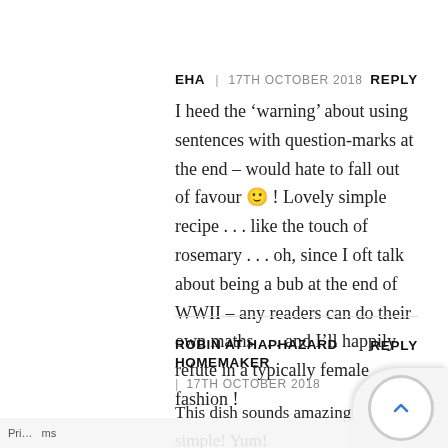EHA | 17TH OCTOBER 2018   REPLY
I heed the ‘warning’ about using sentences with question-marks at the end – would hate to fall out of favour 🙂 ! Lovely simple recipe . . . like the touch of rosemary . . . oh, since I oft talk about being a bub at the end of WWII – any readers can do their own maths . . . and I’ll happily refute in a typically female fashion !
ROBIN AT HAPHAZARD HOMEMAKER | 17TH OCTOBER 2018   REPLY
This dish sounds amazing! And so simple! Yum!